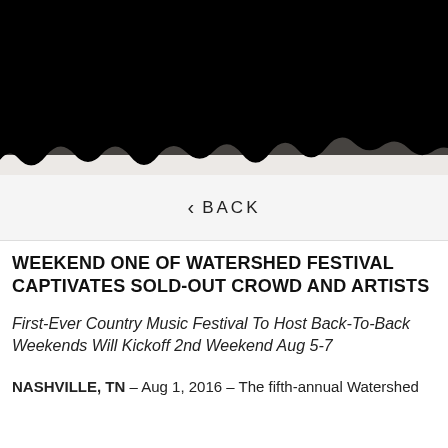[Figure (photo): Black header image with torn/rough bottom edge, resembling a dark background image from a website banner]
< BACK
WEEKEND ONE OF WATERSHED FESTIVAL CAPTIVATES SOLD-OUT CROWD AND ARTISTS
First-Ever Country Music Festival To Host Back-To-Back Weekends Will Kickoff 2nd Weekend Aug 5-7
NASHVILLE, TN – Aug 1, 2016 – The fifth-annual Watershed